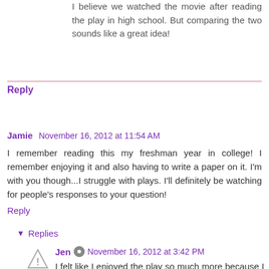I believe we watched the movie after reading the play in high school. But comparing the two sounds like a great idea!
Reply
Jamie  November 16, 2012 at 11:54 AM
I remember reading this my freshman year in college! I remember enjoying it and also having to write a paper on it. I'm with you though...I struggle with plays. I'll definitely be watching for people's responses to your question!
Reply
▼ Replies
Jen  November 16, 2012 at 3:42 PM
I felt like I enjoyed the play so much more because I wasn't worried about writing a paper on it!